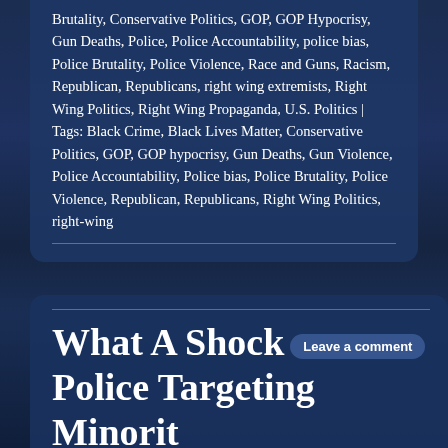Brutality, Conservative Politics, GOP, GOP Hypocrisy, Gun Deaths, Police, Police Accountability, police bias, Police Brutality, Police Violence, Race and Guns, Racism, Republican, Republicans, right wing extremists, Right Wing Politics, Right Wing Propaganda, U.S. Politics | Tags: Black Crime, Black Lives Matter, Conservative Politics, GOP, GOP hypocrisy, Gun Deaths, Gun Violence, Police Accountability, Police bias, Police Brutality, Police Violence, Republican, Republicans, Right Wing Politics, right-wing
What A Shock... Police Targeting Minority Neighborhoods With DUI Checkpoints